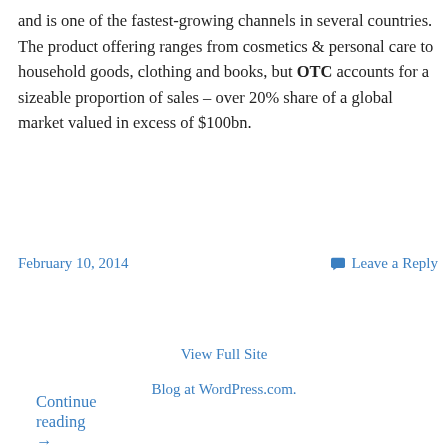and is one of the fastest-growing channels in several countries. The product offering ranges from cosmetics & personal care to household goods, clothing and books, but OTC accounts for a sizeable proportion of sales – over 20% share of a global market valued in excess of $100bn.
Continue reading →
February 10, 2014
Leave a Reply
View Full Site
Blog at WordPress.com.